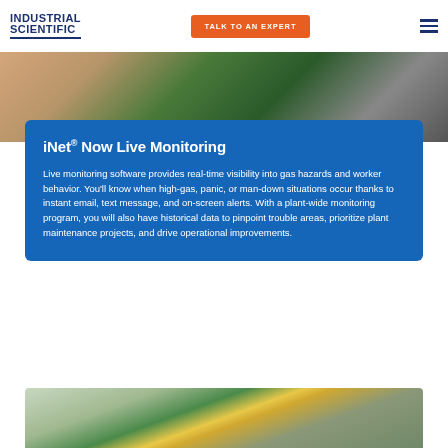[Figure (logo): Industrial Scientific logo with dark blue text and horizontal line]
TALK TO AN EXPERT
[Figure (photo): Close-up of hands holding a tablet showing circuit board or monitoring interface]
iNet® Now Live Monitoring
Live monitoring software provides real-time visibility into gas hazards and worker behavior. You'll know when high-gas, panic, or man-down situations occur thanks to instant email, text message, and on-screen alerts. With a plant-wide monitoring program, you will also have historical data to pinpoint trouble areas, prioritize plant maintenance projects, and drive operational improvements.
[Figure (photo): Worker in yellow hard hat and safety vest working outdoors near industrial structure]